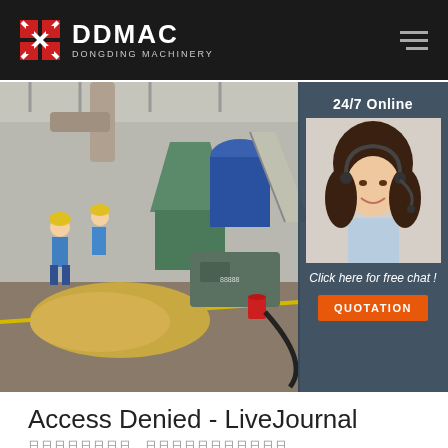[Figure (logo): DDMAC Dongding Machinery logo with red geometric icon and white text on dark background header]
[Figure (photo): Factory floor showing sawdust/biomass processing machinery, workers in hard hats, industrial equipment including hoppers and conveyors, woodchip pile on floor]
[Figure (infographic): 24/7 Online sidebar with customer service agent photo and 'Click here for free chat!' text and QUOTATION button]
Access Denied - LiveJournal
日本語テキスト、その他の多言語テキスト